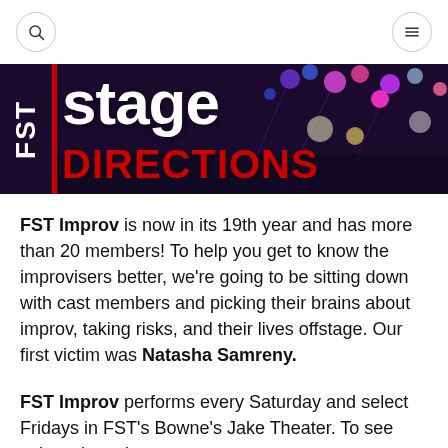Search and Menu icons
[Figure (logo): FST Stage Directions banner logo with colorful stage lights in background, white FST text on left with red bar, 'stage' in large white text and 'DIRECTIONS' in large red text]
FST Improv is now in its 19th year and has more than 20 members! To help you get to know the improvisers better, we're going to be sitting down with cast members and picking their brains about improv, taking risks, and their lives offstage. Our first victim was Natasha Samreny.
FST Improv performs every Saturday and select Fridays in FST's Bowne's Jake Theater. To see select show dates...